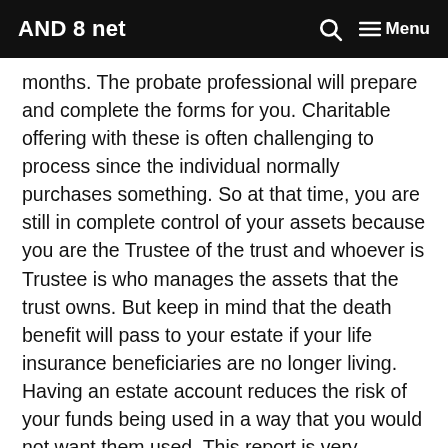AND 8 net  Menu
months. The probate professional will prepare and complete the forms for you. Charitable offering with these is often challenging to process since the individual normally purchases something. So at that time, you are still in complete control of your assets because you are the Trustee of the trust and whoever is Trustee is who manages the assets that the trust owns. But keep in mind that the death benefit will pass to your estate if your life insurance beneficiaries are no longer living. Having an estate account reduces the risk of your funds being used in a way that you would not want them used. This report is very important because the personal representative can be held personally liable for